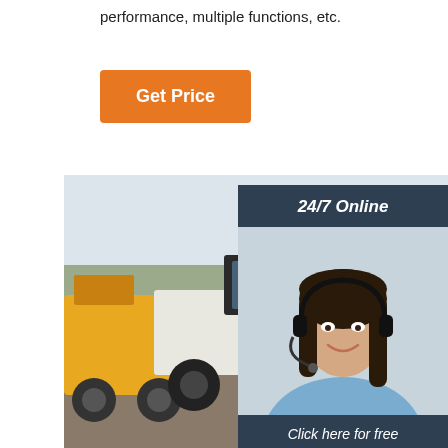performance, multiple functions, etc.
Get Price
[Figure (photo): Outdoor yard with multiple construction machines including white motor graders and yellow heavy equipment, parked on a dirt surface with trees in the background.]
24/7 Online
[Figure (photo): A smiling woman with dark hair wearing a headset and light blue blouse, customer service representative.]
Click here for free chat !
QUOTATION